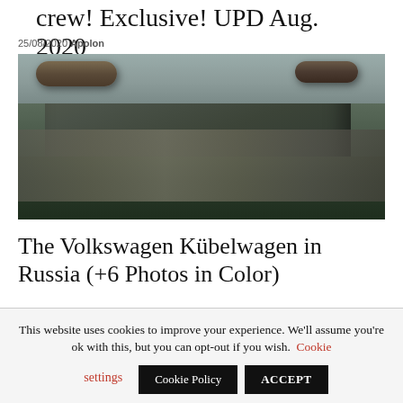crew! Exclusive! UPD Aug. 2020
25/08/2020 Apolon
[Figure (photo): A military tank viewed from the front, covered in mud and with logs attached, driving through muddy terrain. Overcast sky in background.]
The Volkswagen Kübelwagen in Russia (+6 Photos in Color)
23/03/2020 Apolon
This website uses cookies to improve your experience. We'll assume you're ok with this, but you can opt-out if you wish. Cookie settings Cookie Policy ACCEPT